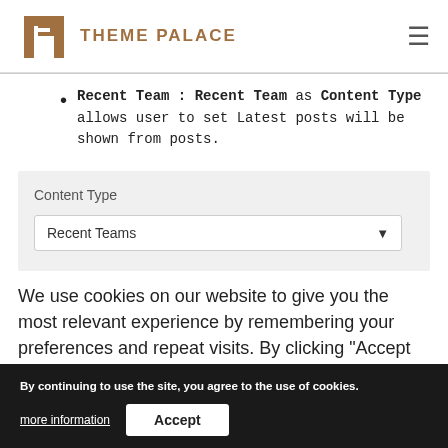THEME PALACE
Recent Team : Recent Team as Content Type allows user to set Latest posts will be shown from posts.
[Figure (screenshot): UI screenshot showing a 'Content Type' dropdown widget with 'Recent Teams' selected]
We use cookies on our website to give you the most relevant experience by remembering your preferences and repeat visits. By clicking "Accept All", you consent to the use of ALL the cookies. However, you may visit "Cookie Settings" to provide a controlled consent.
By continuing to use the site, you agree to the use of cookies.
more information
Accept